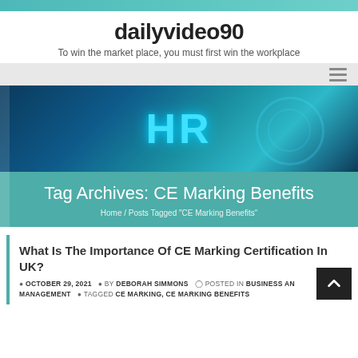dailyvideo90
To win the market place, you must first win the workplace
[Figure (photo): HR technology banner image with glowing 'HR' text on blue digital background]
Tag Archives: CE Marking Benefits
Home / Posts Tagged "CE Marking Benefits"
What Is The Importance Of CE Marking Certification In UK?
OCTOBER 29, 2021  BY DEBORAH SIMMONS  POSTED IN BUSINESS AND MANAGEMENT  TAGGED CE MARKING, CE MARKING BENEFITS